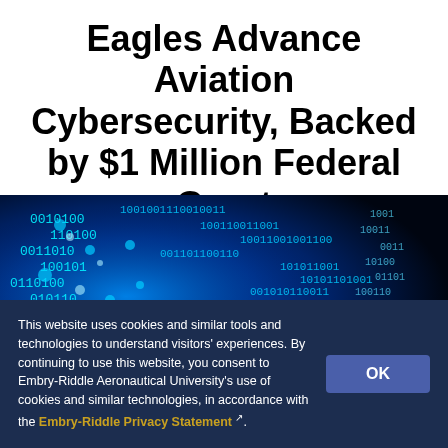Eagles Advance Aviation Cybersecurity, Backed by $1 Million Federal Grant
[Figure (photo): Close-up photograph of glowing blue binary code (0s and 1s) on a dark background, representing cybersecurity and digital data.]
This website uses cookies and similar tools and technologies to understand visitors' experiences. By continuing to use this website, you consent to Embry-Riddle Aeronautical University's use of cookies and similar technologies, in accordance with the Embry-Riddle Privacy Statement.